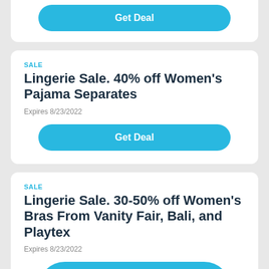[Figure (screenshot): Top card showing a Get Deal button (partially cropped at top)]
SALE
Lingerie Sale. 40% off Women's Pajama Separates
Expires 8/23/2022
[Figure (screenshot): Get Deal button for Lingerie Sale 40% off]
SALE
Lingerie Sale. 30-50% off Women's Bras From Vanity Fair, Bali, and Playtex
Expires 8/23/2022
[Figure (screenshot): Get Deal button for Lingerie Sale 30-50% off (partially cropped at bottom)]